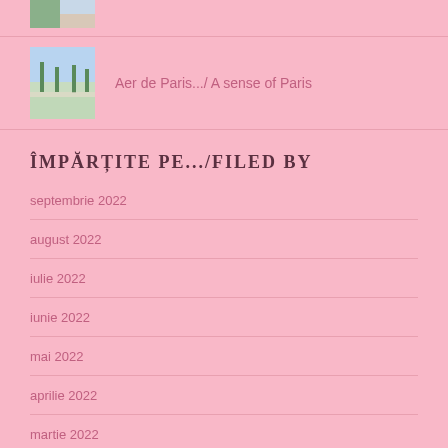[Figure (photo): Partial thumbnail image at top, cropped building/scene]
[Figure (photo): Thumbnail of Paris park/avenue with trees and path]
Aer de Paris.../ A sense of Paris
ÎMPĂRȚITE PE.../FILED BY
septembrie 2022
august 2022
iulie 2022
iunie 2022
mai 2022
aprilie 2022
martie 2022
februarie 2022
ianuarie 2022
decembrie 2021